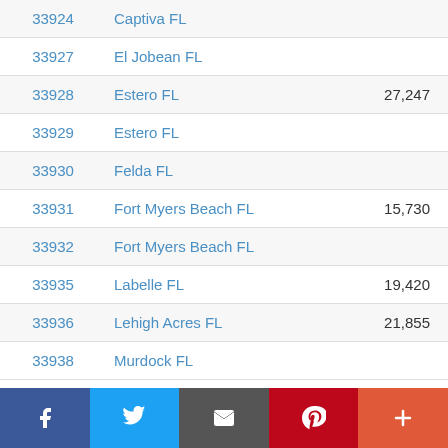| ZIP | City | Population | Change |
| --- | --- | --- | --- |
| 33924 | Captiva FL |  | 0% |
| 33927 | El Jobean FL |  | 0% |
| 33928 | Estero FL | 27,247 | 23% |
| 33929 | Estero FL |  | 0% |
| 33930 | Felda FL |  | 0% |
| 33931 | Fort Myers Beach FL | 15,730 | 36% |
| 33932 | Fort Myers Beach FL |  | 0% |
| 33935 | Labelle FL | 19,420 | -4% |
| 33936 | Lehigh Acres FL | 21,855 | 13% |
| 33938 | Murdock FL |  | 0% |